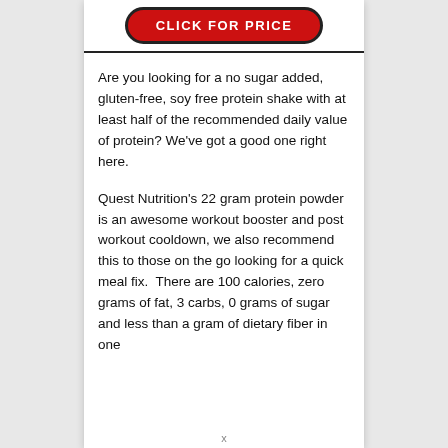[Figure (other): Red button with text CLICK FOR PRICE on white card with black border]
Are you looking for a no sugar added, gluten-free, soy free protein shake with at least half of the recommended daily value of protein? We've got a good one right here.
Quest Nutrition's 22 gram protein powder is an awesome workout booster and post workout cooldown, we also recommend this to those on the go looking for a quick meal fix.  There are 100 calories, zero grams of fat, 3 carbs, 0 grams of sugar and less than a gram of dietary fiber in one